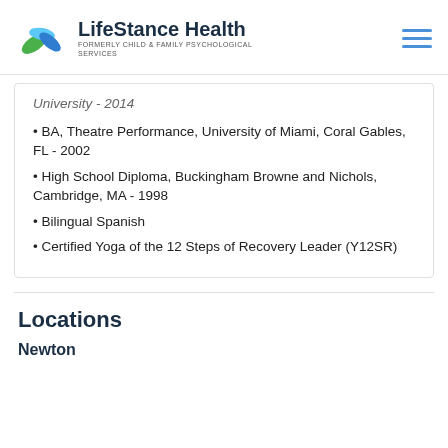LifeStance Health — FORMERLY CHILD & FAMILY PSYCHOLOGICAL SERVICES
University - 2014
• BA, Theatre Performance, University of Miami, Coral Gables, FL - 2002
• High School Diploma, Buckingham Browne and Nichols, Cambridge, MA - 1998
• Bilingual Spanish
• Certified Yoga of the 12 Steps of Recovery Leader (Y12SR)
Locations
Newton